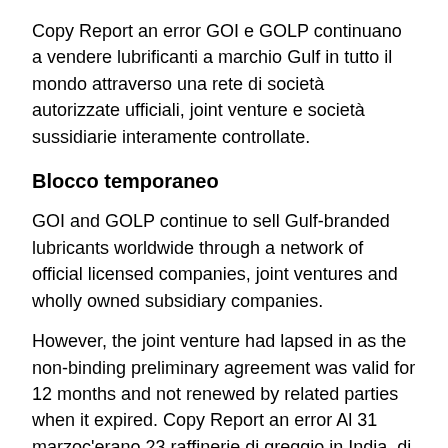Copy Report an error GOI e GOLP continuano a vendere lubrificanti a marchio Gulf in tutto il mondo attraverso una rete di società autorizzate ufficiali, joint venture e società sussidiarie interamente controllate.
Blocco temporaneo
GOI and GOLP continue to sell Gulf-branded lubricants worldwide through a network of official licensed companies, joint ventures and wholly owned subsidiary companies.
However, the joint venture had lapsed in as the non-binding preliminary agreement was valid for 12 months and not renewed by related parties when it expired. Copy Report an error Al 31 marzoc'erano 23 raffinerie di greggio in India, di cui 18 di proprietà statale3 erano di proprietà privata e 2 erano joint venture.